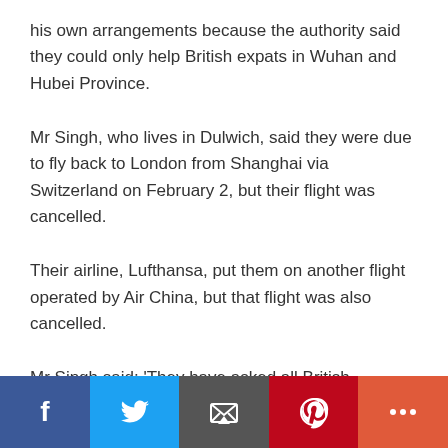his own arrangements because the authority said they could only help British expats in Wuhan and Hubei Province.
Mr Singh, who lives in Dulwich, said they were due to fly back to London from Shanghai via Switzerland on February 2, but their flight was cancelled.
Their airline, Lufthansa, put them on another flight operated by Air China, but that flight was also cancelled.
Mr Singh said: 'They have asked all British nationals
[Figure (other): Social sharing bar with Facebook, Twitter, Email, Pinterest, and More buttons]